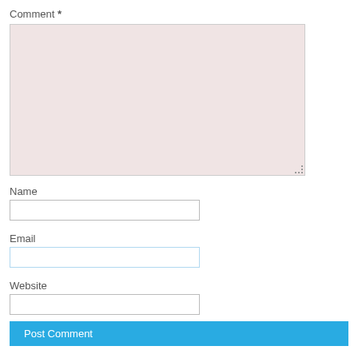Comment *
[Figure (screenshot): Comment textarea input box with pinkish background]
Name
[Figure (screenshot): Name text input field]
Email
[Figure (screenshot): Email text input field with light blue border]
Website
[Figure (screenshot): Website text input field]
Post Comment